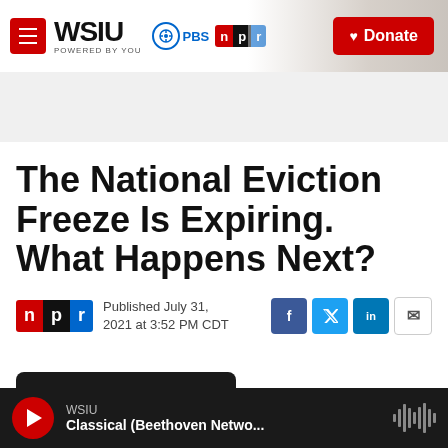WSIU POWERED BY YOU | PBS | npr | Donate
The National Eviction Freeze Is Expiring. What Happens Next?
Published July 31, 2021 at 3:52 PM CDT
[Figure (screenshot): Listen button bar partially visible at bottom of content area]
WSIU | Classical (Beethoven Netwo...